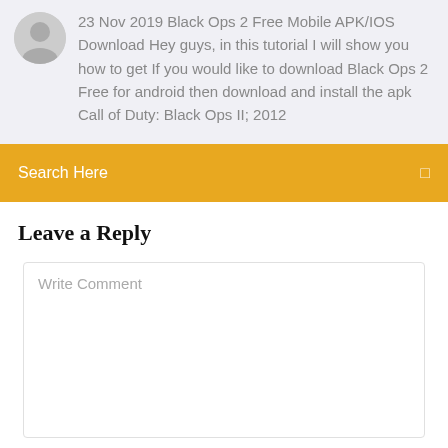23 Nov 2019 Black Ops 2 Free Mobile APK/IOS Download Hey guys, in this tutorial I will show you how to get If you would like to download Black Ops 2 Free for android then download and install the apk Call of Duty: Black Ops II; 2012
Search Here
Leave a Reply
Write Comment